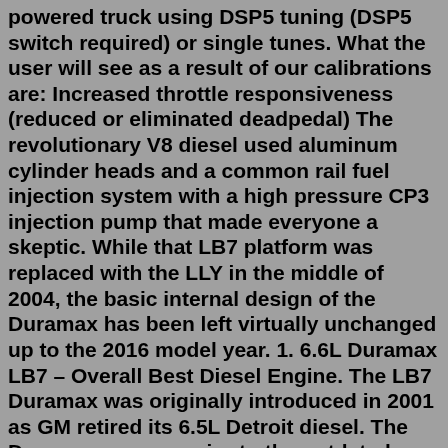powered truck using DSP5 tuning (DSP5 switch required) or single tunes. What the user will see as a result of our calibrations are: Increased throttle responsiveness (reduced or eliminated deadpedal) The revolutionary V8 diesel used aluminum cylinder heads and a common rail fuel injection system with a high pressure CP3 injection pump that made everyone a skeptic. While that LB7 platform was replaced with the LLY in the middle of 2004, the basic internal design of the Duramax has been left virtually unchanged up to the 2016 model year. 1. 6.6L Duramax LB7 – Overall Best Diesel Engine. The LB7 Duramax was originally introduced in 2001 as GM retired its 6.5L Detroit diesel. The Duramax was superior to the outdated Detroit and marked a revolutionary turning point for Chevrolet and GMC pickups in the diesel marketplace. DuramaxTuner.com has developed a brand new 6 Speed Conversion Kit! The kit includes everything you need for upgrade your LB7 or LLY Allison to a 6 speed. If you would like to learn more about this